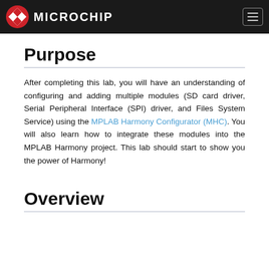Microchip
Purpose
After completing this lab, you will have an understanding of configuring and adding multiple modules (SD card driver, Serial Peripheral Interface (SPI) driver, and Files System Service) using the MPLAB Harmony Configurator (MHC). You will also learn how to integrate these modules into the MPLAB Harmony project. This lab should start to show you the power of Harmony!
Overview